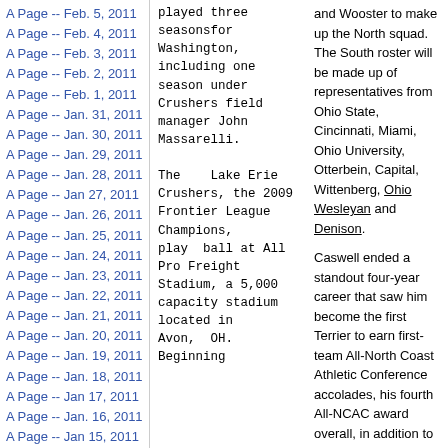A Page -- Feb. 5, 2011
A Page -- Feb. 4, 2011
A Page -- Feb. 3, 2011
A Page -- Feb. 2, 2011
A Page -- Feb. 1, 2011
A Page -- Jan. 31, 2011
A Page -- Jan. 30, 2011
A Page -- Jan. 29, 2011
A Page -- Jan. 28, 2011
A Page -- Jan 27, 2011
A Page -- Jan. 26, 2011
A Page -- Jan. 25, 2011
A Page -- Jan. 24, 2011
A Page -- Jan. 23, 2011
A Page -- Jan. 22, 2011
A Page -- Jan. 21, 2011
A Page -- Jan. 20, 2011
A Page -- Jan. 19, 2011
A Page -- Jan. 18, 2011
A Page -- Jan 17, 2011
A Page -- Jan. 16, 2011
A Page -- Jan 15, 2011
A Page -- Jan 14, 2011
played three seasonsfor Washington, including one season under Crushers field manager John Massarelli.

The Lake Erie Crushers, the 2009 Frontier League Champions, play ball at All Pro Freight Stadium, a 5,000 capacity stadium located in Avon, OH. Beginning
and Wooster to make up the North squad. The South roster will be made up of representatives from Ohio State, Cincinnati, Miami, Ohio University, Otterbein, Capital, Wittenberg, Ohio Wesleyan and Denison.

Caswell ended a standout four-year career that saw him become the first Terrier to earn first-team All-North Coast Athletic Conference accolades, his fourth All-NCAC award overall, in addition to earning All-Ohio honors.

This past fall, Caswell led the team in tackles for loss with nine-and-